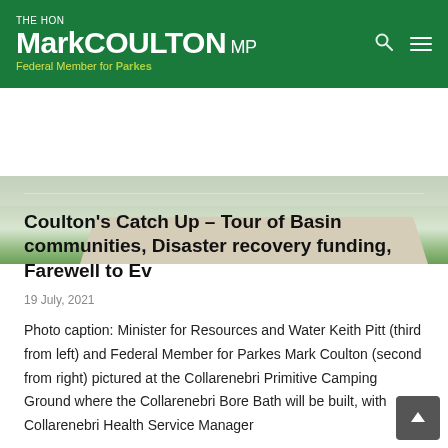THE HON Mark COULTON MP — Federal Member for Parkes
[Figure (photo): Aerial or ground-level photo showing a concrete pathway or walkway on green grass, partially visible at the top of the page content area.]
Coulton's Catch Up – Tour of Basin communities, Disaster recovery funding, Farewell to Ev
19 July, 2021
Photo caption: Minister for Resources and Water Keith Pitt (third from left) and Federal Member for Parkes Mark Coulton (second from right) pictured at the Collarenebri Primitive Camping Ground where the Collarenebri Bore Bath will be built, with Collarenebri Health Service Manager